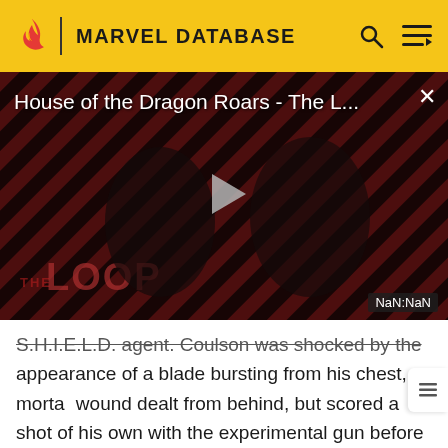MARVEL DATABASE
[Figure (screenshot): Video player showing 'House of the Dragon Roars - The L...' with a diagonal red and black striped background, two figures visible, a play button in the center, and a NaN:NaN timestamp in the bottom right corner.]
S.H.I.E.L.D. agent. Coulson was shocked by the appearance of a blade bursting from his chest, a mortal wound dealt from behind, but scored a shot of his own with the experimental gun before Loki fled the Helicarrier.[9]